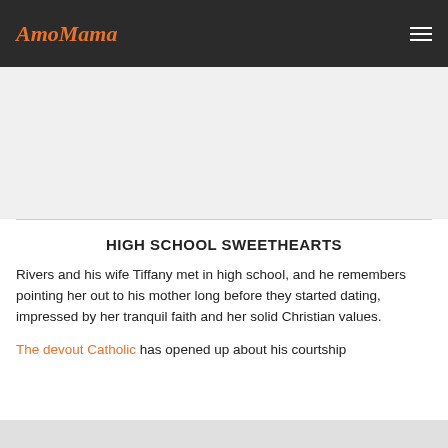AmoMama
HIGH SCHOOL SWEETHEARTS
Rivers and his wife Tiffany met in high school, and he remembers pointing her out to his mother long before they started dating, impressed by her tranquil faith and her solid Christian values.
The devout Catholic has opened up about his courtship